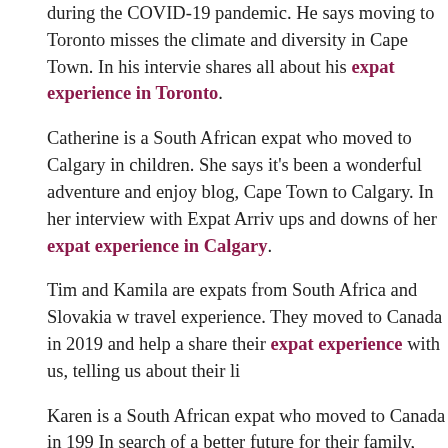during the COVID-19 pandemic. He says moving to Toronto misses the climate and diversity in Cape Town. In his interview shares all about his expat experience in Toronto.
Catherine is a South African expat who moved to Calgary in children. She says it's been a wonderful adventure and enjoys blog, Cape Town to Calgary. In her interview with Expat Arriv ups and downs of her expat experience in Calgary.
Tim and Kamila are expats from South Africa and Slovakia w travel experience. They moved to Canada in 2019 and help a share their expat experience with us, telling us about their li
Karen is a South African expat who moved to Canada in 199 In search of a better future for their family, they settled in Tor proud Canadian citizens and happy to call Canada their hom experiences in Toronto.
Cyrus Janssen is an expat who spent 10 years in Asia before 2017. He is a golf professional and sports marketing executi language learning and blogging about his journeys. Read hi